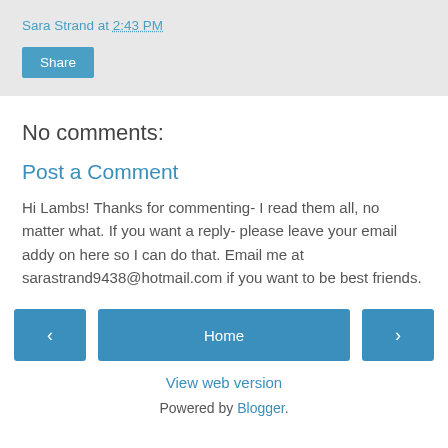Sara Strand at 2:43 PM
Share
No comments:
Post a Comment
Hi Lambs! Thanks for commenting- I read them all, no matter what. If you want a reply- please leave your email addy on here so I can do that. Email me at sarastrand9438@hotmail.com if you want to be best friends.
‹
Home
›
View web version
Powered by Blogger.